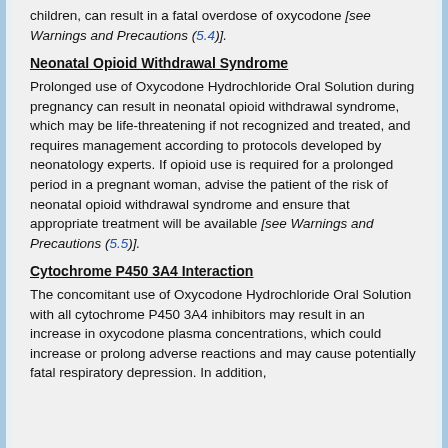Oxycodone Hydrochloride Oral Solution, especially by children, can result in a fatal overdose of oxycodone [see Warnings and Precautions (5.4)].
Neonatal Opioid Withdrawal Syndrome
Prolonged use of Oxycodone Hydrochloride Oral Solution during pregnancy can result in neonatal opioid withdrawal syndrome, which may be life-threatening if not recognized and treated, and requires management according to protocols developed by neonatology experts. If opioid use is required for a prolonged period in a pregnant woman, advise the patient of the risk of neonatal opioid withdrawal syndrome and ensure that appropriate treatment will be available [see Warnings and Precautions (5.5)].
Cytochrome P450 3A4 Interaction
The concomitant use of Oxycodone Hydrochloride Oral Solution with all cytochrome P450 3A4 inhibitors may result in an increase in oxycodone plasma concentrations, which could increase or prolong adverse reactions and may cause potentially fatal respiratory depression. In addition,